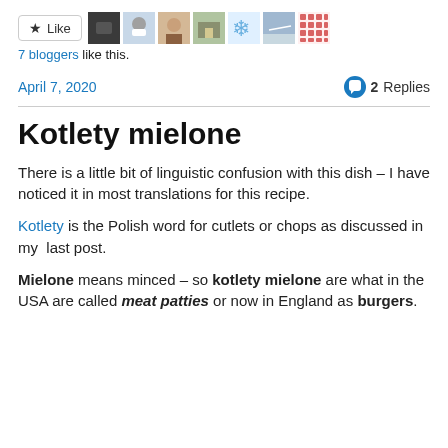[Figure (other): Like button with star icon and a row of 7 blogger avatar thumbnails]
7 bloggers like this.
April 7, 2020    💬 2 Replies
Kotlety mielone
There is a little bit of linguistic confusion with this dish – I have noticed it in most translations for this recipe.
Kotlety is the Polish word for cutlets or chops as discussed in my  last post.
Mielone means minced – so kotlety mielone are what in the USA are called meat patties or now in England as burgers.